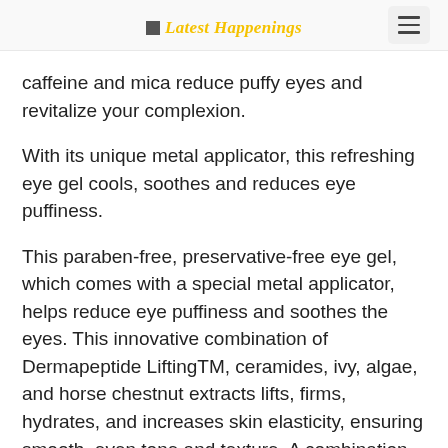Latest Happenings
caffeine and mica reduce puffy eyes and revitalize your complexion.
With its unique metal applicator, this refreshing eye gel cools, soothes and reduces eye puffiness.
This paraben-free, preservative-free eye gel, which comes with a special metal applicator, helps reduce eye puffiness and soothes the eyes. This innovative combination of Dermapeptide LiftingTM, ceramides, ivy, algae, and horse chestnut extracts lifts, firms, hydrates, and increases skin elasticity, ensuring smooth, even tone and texture. A combination of caffeine and mica reduces redness, puffiness and brightens. Using a powerful anti-oxidant blend of white, red and green tea extracts with goji berry,